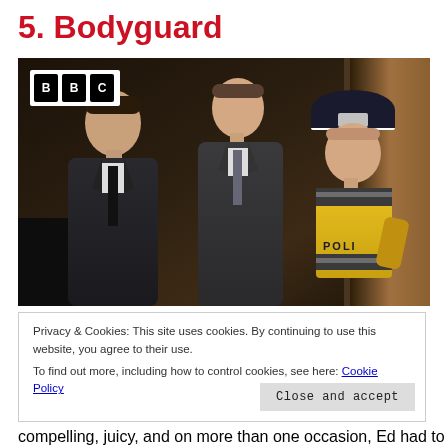5. Bodyguard
[Figure (photo): A still from the BBC TV show Bodyguard showing three people in a dark corridor: a man in a dark suit on the left, another man in a dark suit in the center, and a police officer in a yellow high-visibility vest on the right. The BBC logo is visible in the upper left corner.]
Privacy & Cookies: This site uses cookies. By continuing to use this website, you agree to their use.
To find out more, including how to control cookies, see here: Cookie Policy
Close and accept
compelling, juicy, and on more than one occasion, Ed had to pause